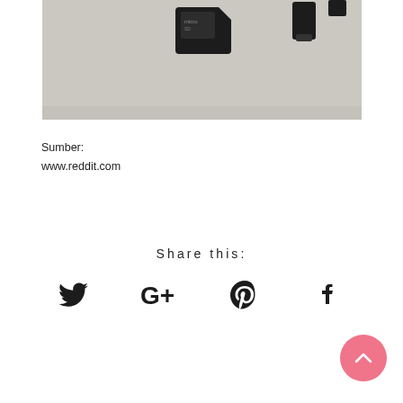[Figure (photo): Photo of a microSD card and adapter on a light gray/beige surface. The black microSD card is in the center with a small label, and a microSD adapter is visible to the upper right.]
Sumber:
www.reddit.com
Share this:
[Figure (infographic): Social sharing icons: Twitter bird, Google+, Pinterest, Facebook]